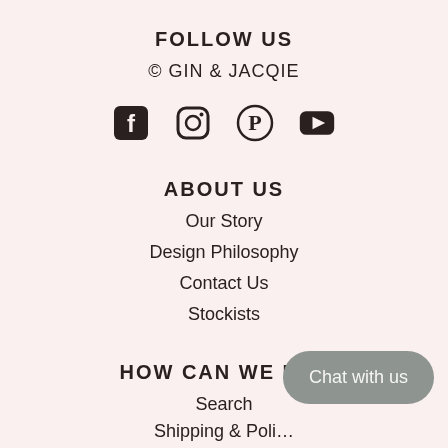FOLLOW US
© GIN & JACQIE
[Figure (other): Row of four social media icons: Facebook, Instagram, Pinterest, YouTube]
ABOUT US
Our Story
Design Philosophy
Contact Us
Stockists
HOW CAN WE HEL…
Search
Shipping & Poli…
Chat with us